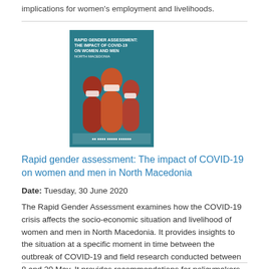implications for women's employment and livelihoods.
[Figure (illustration): Book cover thumbnail for 'Rapid Gender Assessment: The Impact of COVID-19 on Women and Men' showing silhouettes of people wearing masks on a teal background with logos at bottom.]
Rapid gender assessment: The impact of COVID-19 on women and men in North Macedonia
Date: Tuesday, 30 June 2020
The Rapid Gender Assessment examines how the COVID-19 crisis affects the socio-economic situation and livelihood of women and men in North Macedonia. It provides insights to the situation at a specific moment in time between the outbreak of COVID-19 and field research conducted between 8 and 20 May. It provides recommendations for policymakers to integrate gender perspectives in policies and measures during the response and recovery phases.